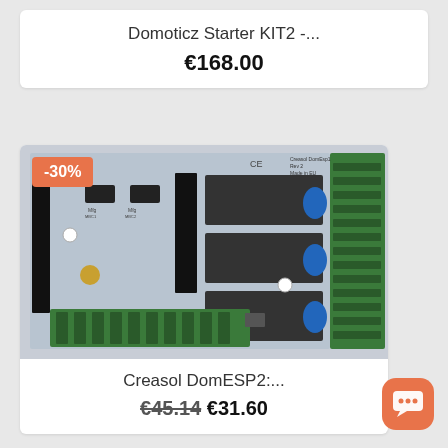Domoticz Starter KIT2 -...
€168.00
[Figure (photo): Circuit board photo showing Creasol DomESP2 electronics board with relays, terminal blocks, and components. Has a -30% discount badge in top left corner.]
Creasol DomESP2:...
€45.14 €31.60
[Figure (illustration): Orange rounded square chat bubble icon button in bottom right corner]